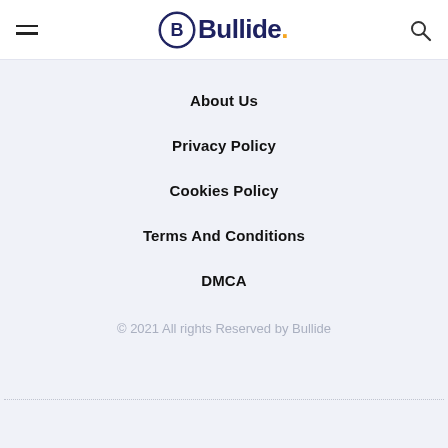Bullide
About Us
Privacy Policy
Cookies Policy
Terms And Conditions
DMCA
© 2021 All rights Reserved by Bullide